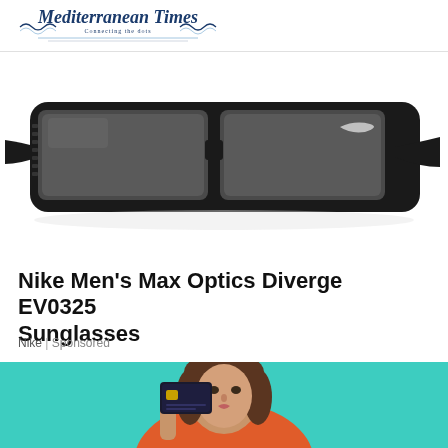Mediterranean Times — Connecting the dots
[Figure (photo): Close-up photo of a black Nike Men's Max Optics Diverge EV0325 sunglasses with gray lenses and Nike swoosh logo on the temple, on white background]
Nike Men's Max Optics Diverge EV0325 Sunglasses
Nike | Sponsored
[Figure (photo): Woman with brown hair holding a dark credit card up to her face against a teal/turquoise background, wearing an orange top]